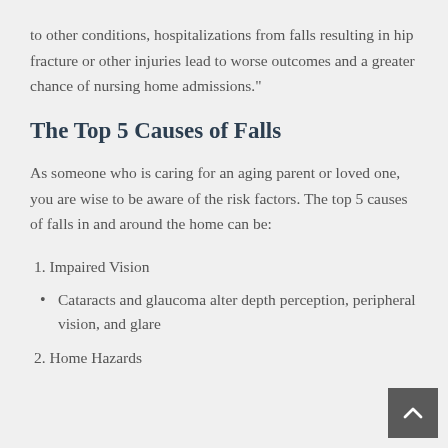to other conditions, hospitalizations from falls resulting in hip fracture or other injuries lead to worse outcomes and a greater chance of nursing home admissions."
The Top 5 Causes of Falls
As someone who is caring for an aging parent or loved one, you are wise to be aware of the risk factors. The top 5 causes of falls in and around the home can be:
1. Impaired Vision
Cataracts and glaucoma alter depth perception, peripheral vision, and glare
2. Home Hazards